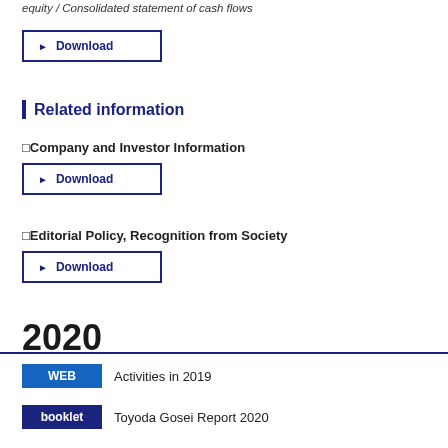equity / Consolidated statement of cash flows
Download
Related information
Company and Investor Information
Download
Editorial Policy, Recognition from Society
Download
2020
WEB  Activities in 2019
booklet  Toyoda Gosei Report 2020